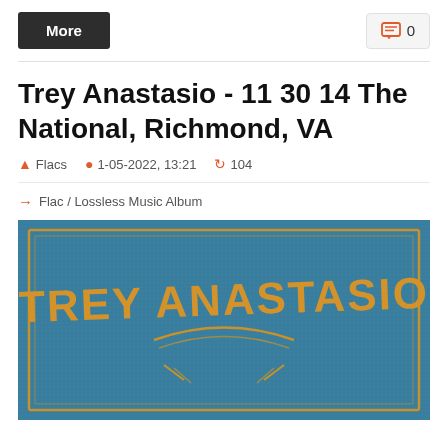More
0
Trey Anastasio - 11 30 14 The National, Richmond, VA
Flacs  1-05-2022, 13:21  104
Flac / Lossless Music Album
[Figure (illustration): Album cover with blue/teal textured background and golden-orange text reading TREY ANASTASIO in large bold letters, with decorative ornamental design beneath]